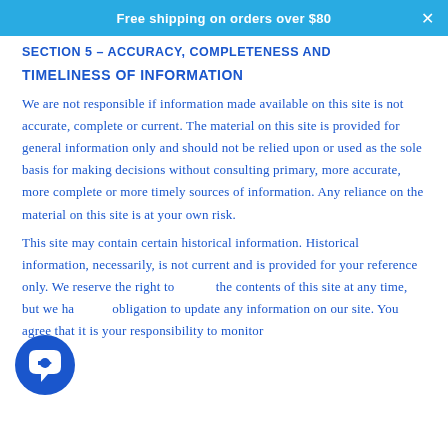Free shipping on orders over $80
SECTION 5 – ACCURACY, COMPLETENESS AND TIMELINESS OF INFORMATION
We are not responsible if information made available on this site is not accurate, complete or current. The material on this site is provided for general information only and should not be relied upon or used as the sole basis for making decisions without consulting primary, more accurate, more complete or more timely sources of information. Any reliance on the material on this site is at your own risk.
This site may contain certain historical information. Historical information, necessarily, is not current and is provided for your reference only. We reserve the right to change the contents of this site at any time, but we have no obligation to update any information on our site. You agree that it is your responsibility to monitor